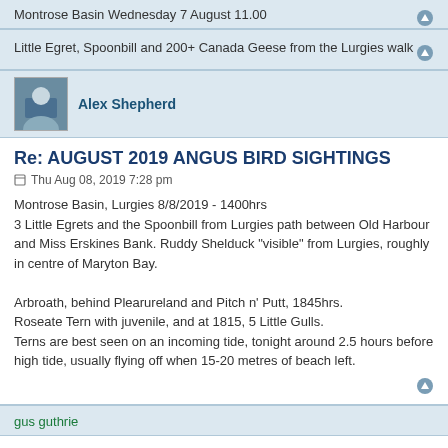Montrose Basin Wednesday 7 August 11.00
Little Egret, Spoonbill and 200+ Canada Geese from the Lurgies walk
Alex Shepherd
Re: AUGUST 2019 ANGUS BIRD SIGHTINGS
Thu Aug 08, 2019 7:28 pm
Montrose Basin, Lurgies 8/8/2019 - 1400hrs
3 Little Egrets and the Spoonbill from Lurgies path between Old Harbour and Miss Erskines Bank. Ruddy Shelduck "visible" from Lurgies, roughly in centre of Maryton Bay.

Arbroath, behind Plearureland and Pitch n' Putt, 1845hrs.
Roseate Tern with juvenile, and at 1815, 5 Little Gulls.
Terns are best seen on an incoming tide, tonight around 2.5 hours before high tide, usually flying off when 15-20 metres of beach left.
gus guthrie
Re: AUGUST 2019 ANGUS BIRD SIGHTINGS